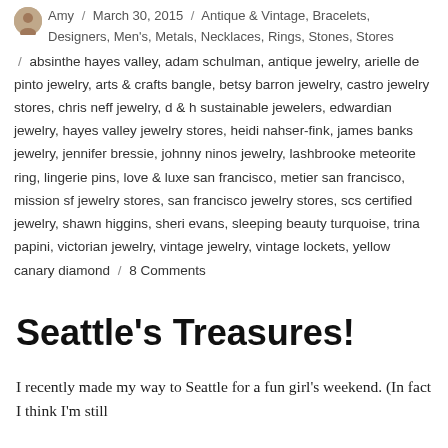Amy / March 30, 2015 / Antique & Vintage, Bracelets, Designers, Men's, Metals, Necklaces, Rings, Stones, Stores / absinthe hayes valley, adam schulman, antique jewelry, arielle de pinto jewelry, arts & crafts bangle, betsy barron jewelry, castro jewelry stores, chris neff jewelry, d & h sustainable jewelers, edwardian jewelry, hayes valley jewelry stores, heidi nahser-fink, james banks jewelry, jennifer bressie, johnny ninos jewelry, lashbrooke meteorite ring, lingerie pins, love & luxe san francisco, metier san francisco, mission sf jewelry stores, san francisco jewelry stores, scs certified jewelry, shawn higgins, sheri evans, sleeping beauty turquoise, trina papini, victorian jewelry, vintage jewelry, vintage lockets, yellow canary diamond / 8 Comments
Seattle's Treasures!
I recently made my way to Seattle for a fun girl's weekend. (In fact I think I'm still